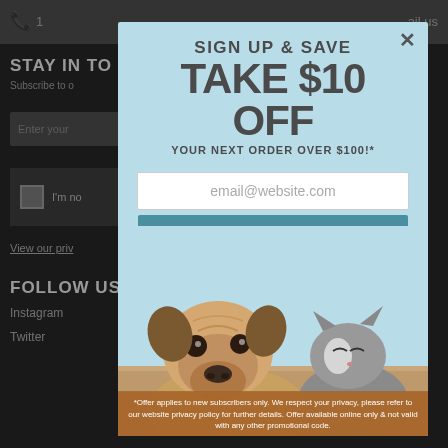1... mail us
STAY IN TO...
Subscribe to o...
Enter your...
I'm no...
View our priv...
FOLLOW US
Instagram
Twitter
Pinterest
SIGN UP & SAVE
TAKE $10 OFF
YOUR NEXT ORDER OVER $100!*
email@website.com
SIGN UP
[Figure (photo): A pug dog and a grey-and-white cat sitting together on a grey blanket against a light blue background]
*Offer applies to new subscribers only. We respect your privacy, please refer to our website privacy policy for further details. Offer available online only & not valid with any other promotional code.